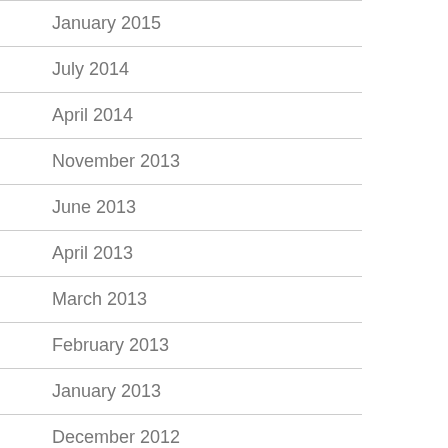January 2015
July 2014
April 2014
November 2013
June 2013
April 2013
March 2013
February 2013
January 2013
December 2012
November 2012
October 2012